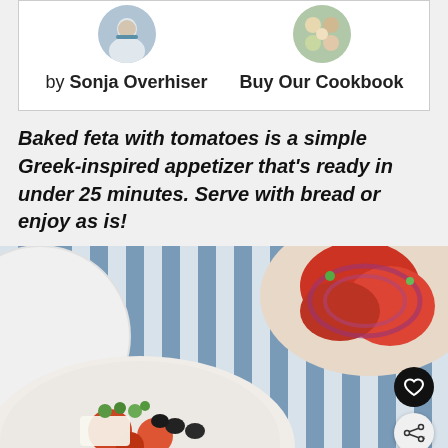by Sonja Overhiser
Buy Our Cookbook
Baked feta with tomatoes is a simple Greek-inspired appetizer that's ready in under 25 minutes. Serve with bread or enjoy as is!
[Figure (photo): Overhead view of baked feta with tomatoes in a white bowl, with olives and herbs, on a blue and white striped cloth. Another bowl with tomatoes and red onion is visible in the upper right corner.]